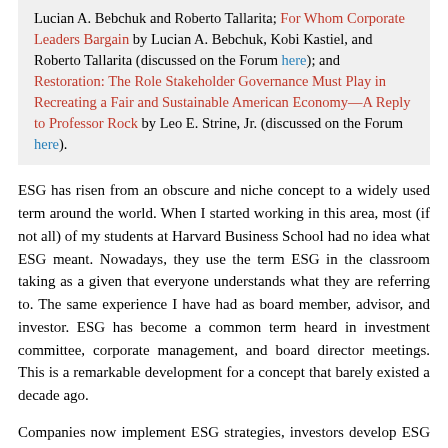Lucian A. Bebchuk and Roberto Tallarita; For Whom Corporate Leaders Bargain by Lucian A. Bebchuk, Kobi Kastiel, and Roberto Tallarita (discussed on the Forum here); and Restoration: The Role Stakeholder Governance Must Play in Recreating a Fair and Sustainable American Economy—A Reply to Professor Rock by Leo E. Strine, Jr. (discussed on the Forum here).
ESG has risen from an obscure and niche concept to a widely used term around the world. When I started working in this area, most (if not all) of my students at Harvard Business School had no idea what ESG meant. Nowadays, they use the term ESG in the classroom taking as a given that everyone understands what they are referring to. The same experience I have had as board member, advisor, and investor. ESG has become a common term heard in investment committee, corporate management, and board director meetings. This is a remarkable development for a concept that barely existed a decade ago.
Companies now implement ESG strategies, investors develop ESG products, and regulators design ESG policies. This activity has been fueled by a significant increase in the number of ESG data that has in turn fueled ESG evaluations. These evaluations span corporates, investors, countries, products, and even universities, using a wealth of ESG metrics. Everything can be evaluated nowadays from an ESG